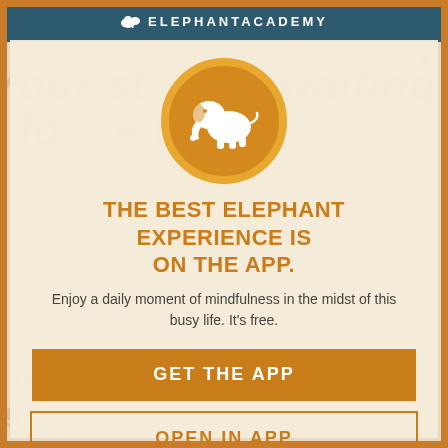ELEPHANTACADEMY
[Figure (logo): Orange circle with white elephant silhouette icon]
THE BEST ELEPHANT EXPERIENCE IS ON THE APP.
Enjoy a daily moment of mindfulness in the midst of this busy life. It's free.
GET THE APP
OPEN IN APP